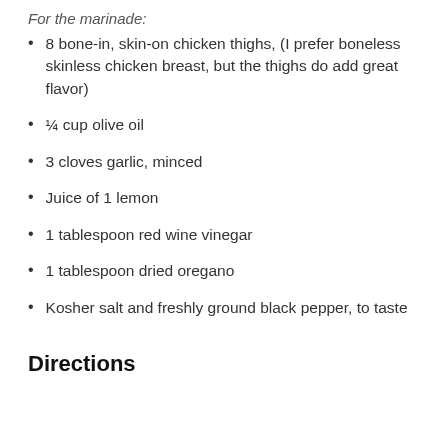For the marinade:
8 bone-in, skin-on chicken thighs, (I prefer boneless skinless chicken breast, but the thighs do add great flavor)
¼ cup olive oil
3 cloves garlic, minced
Juice of 1 lemon
1 tablespoon red wine vinegar
1 tablespoon dried oregano
Kosher salt and freshly ground black pepper, to taste
Directions